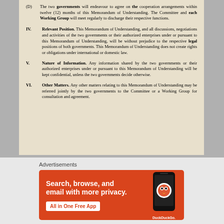(D) The two governments will endeavour to agree on the cooperation arrangements within twelve (12) months of this Memorandum of Understanding. The Committee and each Working Group will meet regularly to discharge their respective functions.
IV. Relevant Position. This Memorandum of Understanding, and all discussions, negotiations and activities of the two governments or their authorized enterprises under or pursuant to this Memorandum of Understanding, will be without prejudice to the respective legal positions of both governments. This Memorandum of Understanding does not create rights or obligations under international or domestic law.
V. Nature of Information. Any information shared by the two governments or their authorized enterprises under or pursuant to this Memorandum of Understanding will be kept confidential, unless the two governments decide otherwise.
VI. Other Matters. Any other matters relating to this Memorandum of Understanding may be referred jointly by the two governments to the Committee or a Working Group for consultation and agreement.
[Figure (infographic): DuckDuckGo advertisement banner with orange background. Text reads: Search, browse, and email with more privacy. All in One Free App. Shows a phone graphic with DuckDuckGo logo.]